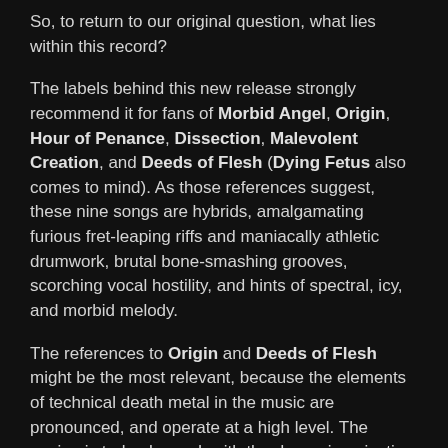So, to return to our original question, what lies within this record?
The labels behind this new release strongly recommend it for fans of Morbid Angel, Origin, Hour of Penance, Dissection, Malevolent Creation, and Deeds of Flesh (Dying Fetus also comes to mind). As those references suggest, these nine songs are hybrids, amalgamating furious fret-leaping riffs and maniacally athletic drumwork, brutal bone-smashing grooves, scorching vocal hostility, and hints of spectral, icy, and morbid melody.
The references to Origin and Deeds of Flesh might be the most relevant, because the elements of technical death metal in the music are pronounced, and operate at a high level. The pacing is turbocharged, with the drumming ejecting obliterating percussive munitions but shifting rapidly among various patterns of merciless destruction and the fretwork generating a blazing extravagance of tremolo'd scything, shrieking mayhem, insectile darting, and reptilian slithering — coupled with freakish